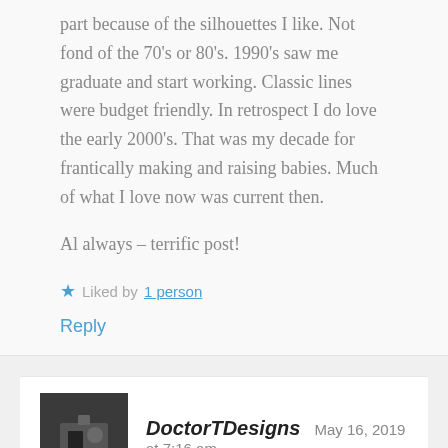part because of the silhouettes I like. Not fond of the 70's or 80's. 1990's saw me graduate and start working. Classic lines were budget friendly. In retrospect I do love the early 2000's. That was my decade for frantically making and raising babies. Much of what I love now was current then.
Al always – terrific post!
Liked by 1 person
Reply
DoctorTDesigns  May 16, 2019 at 7:16 am
Thanks!
Like